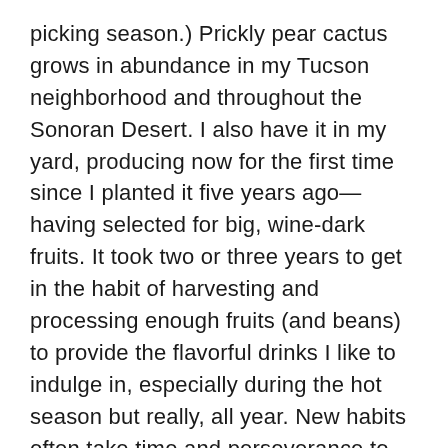picking season.) Prickly pear cactus grows in abundance in my Tucson neighborhood and throughout the Sonoran Desert. I also have it in my yard, producing now for the first time since I planted it five years ago—having selected for big, wine-dark fruits. It took two or three years to get in the habit of harvesting and processing enough fruits (and beans) to provide the flavorful drinks I like to indulge in, especially during the hot season but really, all year. New habits often take time and perseverance to succeed. These days, I almost never buy sweetened drinks at the store. I've all but forgotten about them. Crossed them off my budget.